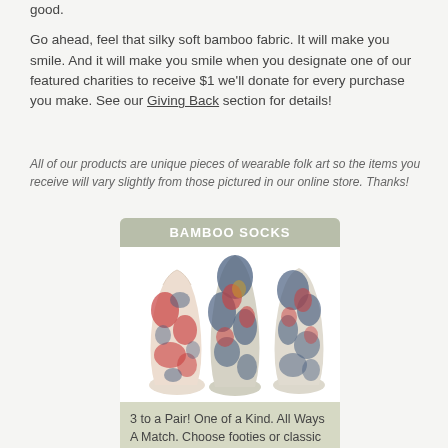good.

Go ahead, feel that silky soft bamboo fabric. It will make you smile. And it will make you smile when you designate one of our featured charities to receive $1 we'll donate for every purchase you make. See our Giving Back section for details!
All of our products are unique pieces of wearable folk art so the items you receive will vary slightly from those pictured in our online store. Thanks!
[Figure (photo): Product card showing three tie-dye bamboo socks in red and blue colors on white background, under a header reading BAMBOO SOCKS, with a description below.]
3 to a Pair! One of a Kind. All Ways A Match. Choose footies or classic 3/4 crew length.